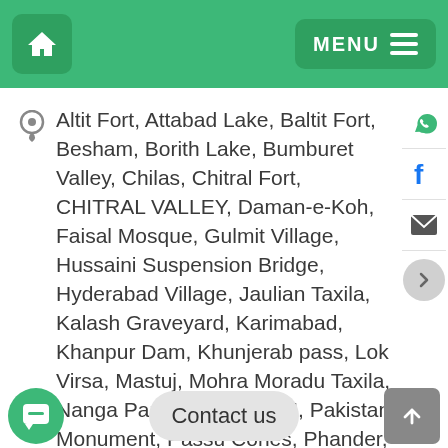Home | MENU
Altit Fort, Attabad Lake, Baltit Fort, Besham, Borith Lake, Bumburet Valley, Chilas, Chitral Fort, CHITRAL VALLEY, Daman-e-Koh, Faisal Mosque, Gulmit Village, Hussaini Suspension Bridge, Hyderabad Village, Jaulian Taxila, Kalash Graveyard, Karimabad, Khanpur Dam, Khunjerab pass, Lok Virsa, Mastuj, Mohra Moradu Taxila, Nanga Parbat, PAKISTAN, Pakistan Monument, Passu Cones, Phander, Raja Bazaar, Rakaposhi, ...ey, Shakar Parian, Shandur Pass, Sirkap Taxila, SWAT VALLEY, Taxila, Taxila